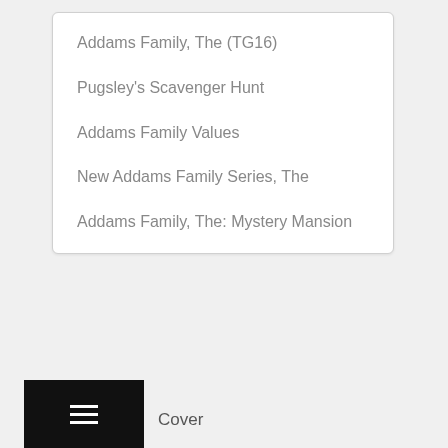Addams Family, The (TG16)
Pugsley's Scavenger Hunt
Addams Family Values
New Addams Family Series, The
Addams Family, The: Mystery Mansion
Cover